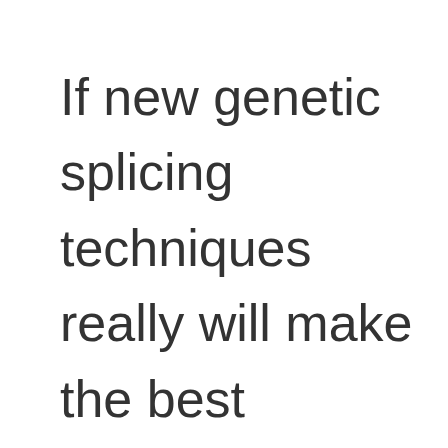If new genetic splicing techniques really will make the best products, let them compete freely,